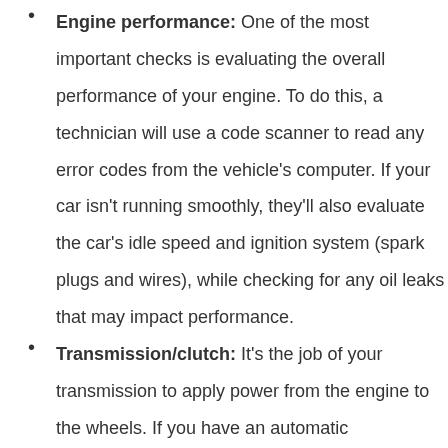Engine performance: One of the most important checks is evaluating the overall performance of your engine. To do this, a technician will use a code scanner to read any error codes from the vehicle's computer. If your car isn't running smoothly, they'll also evaluate the car's idle speed and ignition system (spark plugs and wires), while checking for any oil leaks that may impact performance.
Transmission/clutch: It's the job of your transmission to apply power from the engine to the wheels. If you have an automatic transmission, a technician will check the condition of your transmission fluid and evaluate whether the car is shifting smoothly from one gear to the next. If you have a manual transmission (stick shift)…